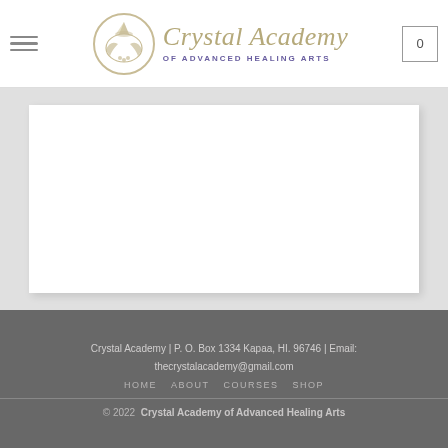Crystal Academy of Advanced Healing Arts — header with logo, navigation hamburger, and cart
[Figure (logo): Crystal Academy of Advanced Healing Arts logo: circular emblem with hands and crystal motif in gold/beige tones, with cursive text 'Crystal Academy' and subtitle 'OF ADVANCED HEALING ARTS']
Crystal Academy | P. O. Box 1334 Kapaa, HI. 96746 | Email: thecrystalacademy@gmail.com
HOME   ABOUT   COURSES   SHOP
© 2022 Crystal Academy of Advanced Healing Arts